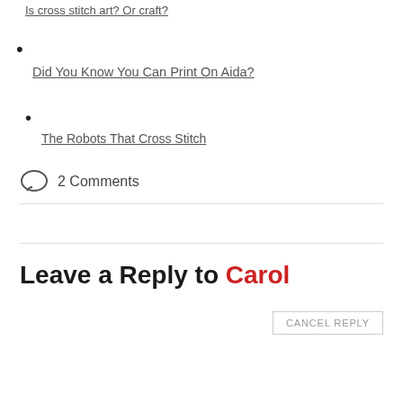Is cross stitch art? Or craft?
Did You Know You Can Print On Aida?
The Robots That Cross Stitch
2 Comments
Leave a Reply to Carol
CANCEL REPLY